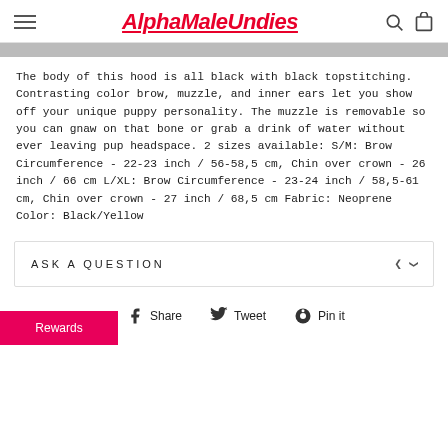AlphaMaleUndies
The body of this hood is all black with black topstitching. Contrasting color brow, muzzle, and inner ears let you show off your unique puppy personality. The muzzle is removable so you can gnaw on that bone or grab a drink of water without ever leaving pup headspace. 2 sizes available: S/M: Brow Circumference - 22-23 inch / 56-58,5 cm, Chin over crown - 26 inch / 66 cm L/XL: Brow Circumference - 23-24 inch / 58,5-61 cm, Chin over crown - 27 inch / 68,5 cm Fabric: Neoprene Color: Black/Yellow
ASK A QUESTION
Share  Tweet  Pin it
Rewards